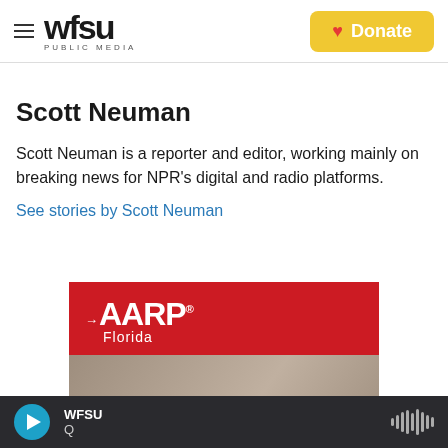WFSU Public Media — Donate
Scott Neuman
Scott Neuman is a reporter and editor, working mainly on breaking news for NPR's digital and radio platforms.
See stories by Scott Neuman
[Figure (photo): AARP Florida advertisement banner with red header showing AARP logo and Florida text, below which is a photo with text 'We're local,' and cursive 'local' AARP branding]
WFSU Q — play button and audio waveform player bar